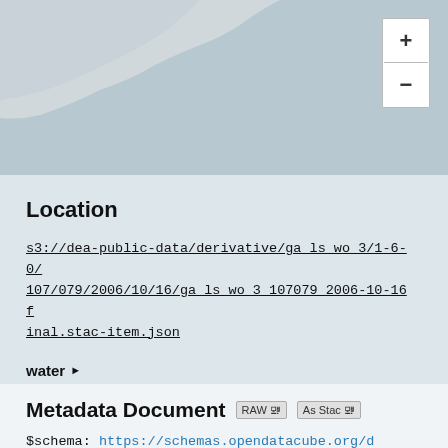[Figure (map): Partial map view showing land/water area with zoom +/- controls in top-right corner]
Location
s3://dea-public-data/derivative/ga_ls_wo_3/1-6-0/107/079/2006/10/16/ga_ls_wo_3_107079_2006-10-16 final.stac-item.json
water ▶
ga_ls_wo_3_107079_2006-10-16 final water.tif
Metadata Document
$schema: https://schemas.opendatacube.org/dataset